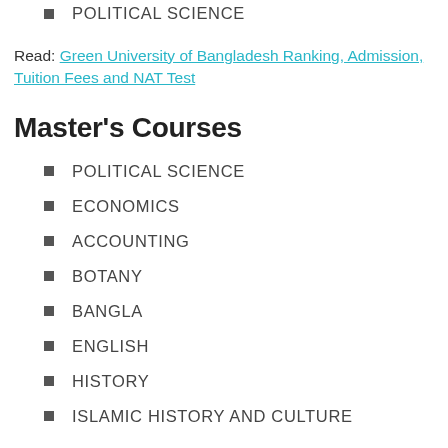POLITICAL SCIENCE
Read: Green University of Bangladesh Ranking, Admission, Tuition Fees and NAT Test
Master's Courses
POLITICAL SCIENCE
ECONOMICS
ACCOUNTING
BOTANY
BANGLA
ENGLISH
HISTORY
ISLAMIC HISTORY AND CULTURE